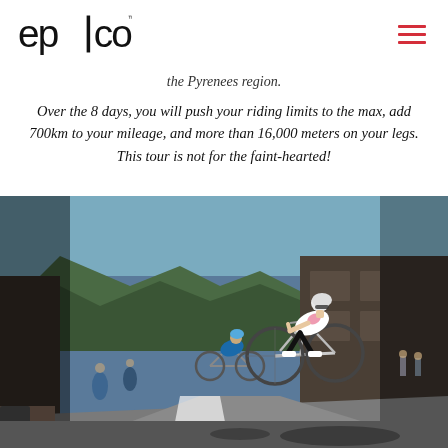epico (logo) | hamburger menu
the Pyrenees region.
Over the 8 days, you will push your riding limits to the max, add 700km to your mileage, and more than 16,000 meters on your legs. This tour is not for the faint-hearted!
[Figure (photo): Cyclists racing on a road through a mountain town, with green hills and buildings in the background. The lead cyclist wears a white and pink jersey.]